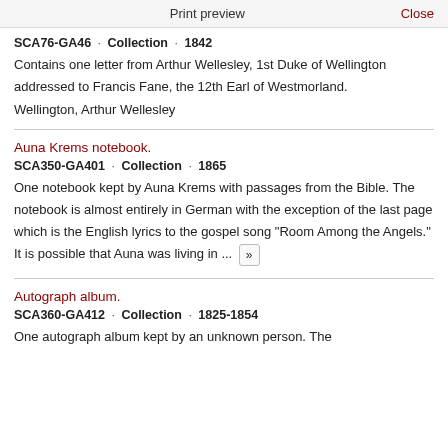Print preview    Close
SCA76-GA46 · Collection · 1842
Contains one letter from Arthur Wellesley, 1st Duke of Wellington addressed to Francis Fane, the 12th Earl of Westmorland.
Wellington, Arthur Wellesley
Auna Krems notebook.
SCA350-GA401 · Collection · 1865
One notebook kept by Auna Krems with passages from the Bible. The notebook is almost entirely in German with the exception of the last page which is the English lyrics to the gospel song "Room Among the Angels." It is possible that Auna was living in ... »
Autograph album.
SCA360-GA412 · Collection · 1825-1854
One autograph album kept by an unknown person. The